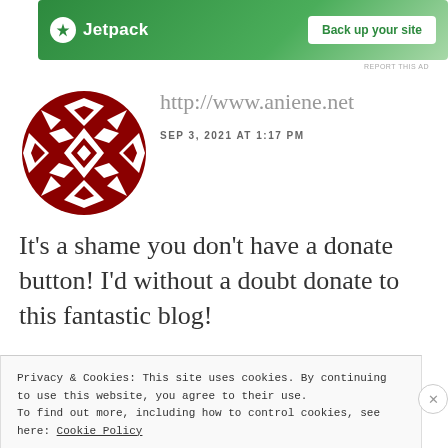[Figure (screenshot): Jetpack ad banner with green background showing Jetpack logo and 'Back up your site' button]
REPORT THIS AD
[Figure (logo): Red and white geometric quilt-pattern avatar icon for http://www.aniene.net]
http://www.aniene.net
SEP 3, 2021 AT 1:17 PM
It's a shame you don't have a donate button! I'd without a doubt donate to this fantastic blog!
Privacy & Cookies: This site uses cookies. By continuing to use this website, you agree to their use.
To find out more, including how to control cookies, see here: Cookie Policy
Close and accept